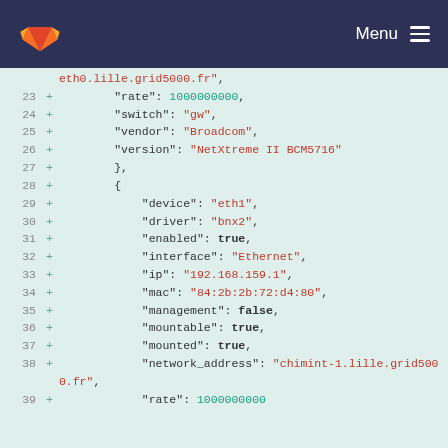GitLab navigation bar with logo and Menu
Code diff showing JSON network configuration lines 23-39 with fields: rate, switch, vendor, version, device, driver, enabled, interface, ip, mac, management, mountable, mounted, network_address, rate